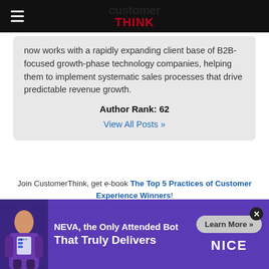customer THINK
now works with a rapidly expanding client base of B2B-focused growth-phase technology companies, helping them to implement systematic sales processes that drive predictable revenue growth.
Author Rank: 62
View All Posts »
Join CustomerThink, get e-book The Top 5 Practices of Customer Experience Winners!
[Figure (infographic): E-book banner: The Top 5 Practices of Customer Experience Winners with Free E-Book label and road graphic]
[Figure (infographic): NEVA advertisement banner: NEVA, the Only Attended Bot That Truly Delivers with Learn More button and NICE logo]